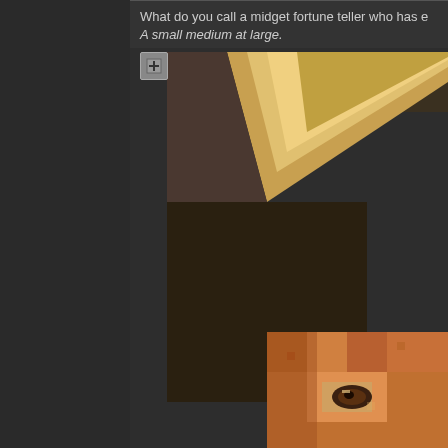What do you call a midget fortune teller who has e
A small medium at large.
[Figure (photo): Partially visible pixelated image showing what appears to be a face or creature, with warm brown/orange tones, visible in the top-right of the page]
http://aserverwith.no-ip.org/img/Pizzer ... 809317.
Re: Brab Cattle!
by Forb » Fri Oct 02, 2009 7:00 am
[Figure (illustration): Anime-style avatar of a character with reddish-purple hair, cute expression, wearing white clothing]
Forb
Site Mod
Posts: 2101
Joined: Thu Oct 01, 2009
I don't know how I feel about this.
But I'll just leave this here...